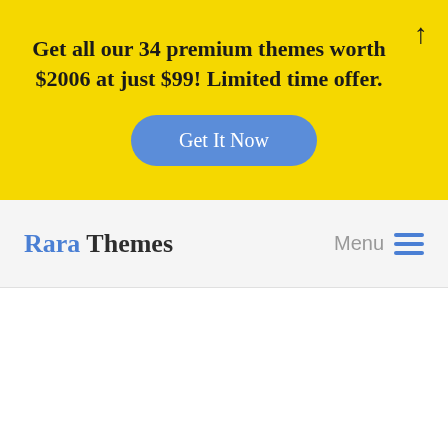Get all our 34 premium themes worth $2006 at just $99! Limited time offer.
Get It Now
Rara Themes
Menu